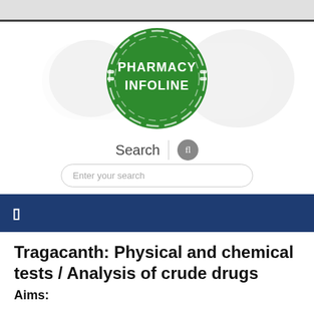[Figure (logo): Pharmacy Infoline logo: green circle with white text 'PHARMACY INFOLINE', with a faint lion/world map watermark in the background]
Search
Enter your search
navigation bar with menu icon
Tragacanth: Physical and chemical tests / Analysis of crude drugs
Aims: